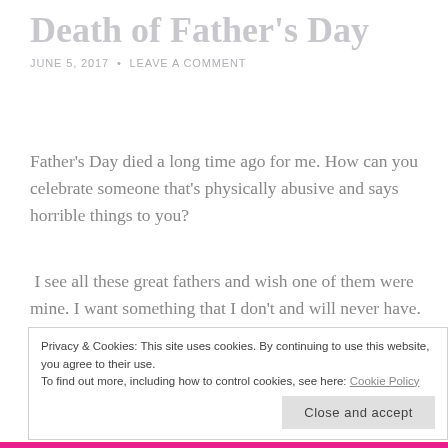Death of Father's Day
JUNE 5, 2017 • LEAVE A COMMENT
Father's Day died a long time ago for me. How can you celebrate someone that's physically abusive and says horrible things to you?
I see all these great fathers and wish one of them were mine. I want something that I don't and will never have. So Father's Day is dead. -RealityOfAPreachersDaughter
Privacy & Cookies: This site uses cookies. By continuing to use this website, you agree to their use.
To find out more, including how to control cookies, see here: Cookie Policy
Close and accept